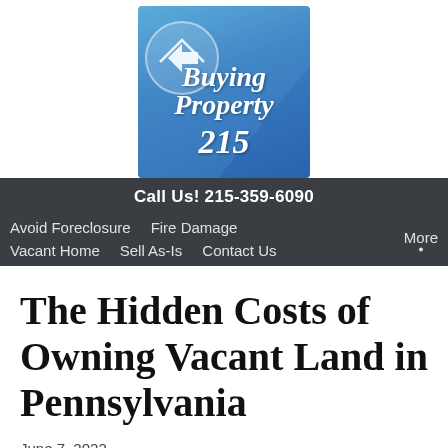[Figure (logo): Buying Property 215 logo — blue gradient square with house icon and white italic text reading 'Buying Property 215']
Call Us! 215-359-6090
Avoid Foreclosure   Fire Damage   More
Vacant Home   Sell As-Is   Contact Us
The Hidden Costs of Owning Vacant Land in Pennsylvania
June 7, 2022